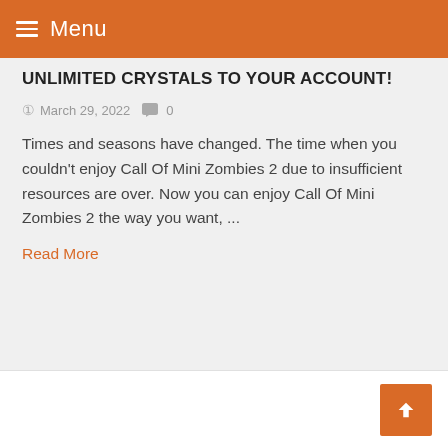Menu
UNLIMITED CRYSTALS TO YOUR ACCOUNT!
March 29, 2022   0
Times and seasons have changed. The time when you couldn't enjoy Call Of Mini Zombies 2 due to insufficient resources are over. Now you can enjoy Call Of Mini Zombies 2 the way you want, ...
Read More